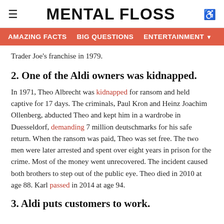MENTAL FLOSS
AMAZING FACTS   BIG QUESTIONS   ENTERTAINMENT
Trader Joe's franchise in 1979.
2. One of the Aldi owners was kidnapped.
In 1971, Theo Albrecht was kidnapped for ransom and held captive for 17 days. The criminals, Paul Kron and Heinz Joachim Ollenberg, abducted Theo and kept him in a wardrobe in Duesseldorf, demanding 7 million deutschmarks for his safe return. When the ransom was paid, Theo was set free. The two men were later arrested and spent over eight years in prison for the crime. Most of the money went unrecovered. The incident caused both brothers to step out of the public eye. Theo died in 2010 at age 88. Karl passed in 2014 at age 94.
3. Aldi puts customers to work.